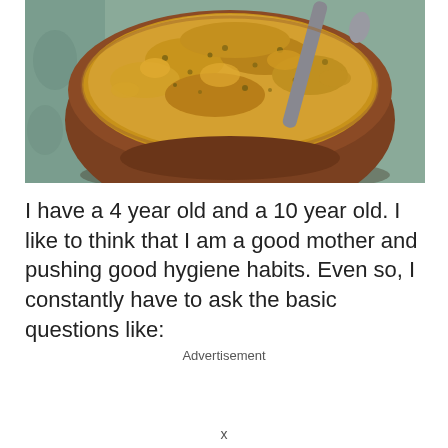[Figure (photo): A wooden bowl filled with crumbled golden-brown food mixture (appears to be a crumble or grain dish) with a spoon, placed on a decorative blue/grey patterned cloth background.]
I have a 4 year old and a 10 year old. I like to think that I am a good mother and pushing good hygiene habits. Even so, I constantly have to ask the basic questions like:
Advertisement
x